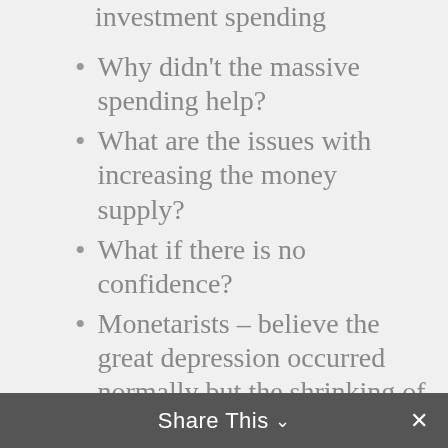investment spending
Why didn't the massive spending help?
What are the issues with increasing the money supply?
What if there is no confidence?
Monetarists – believe the great depression occurred normally but the shrinking of the money supply exacerbated the economic situation
It was caused by a banking crisis
A vicious cycle started and a downward spiral
Share This ×